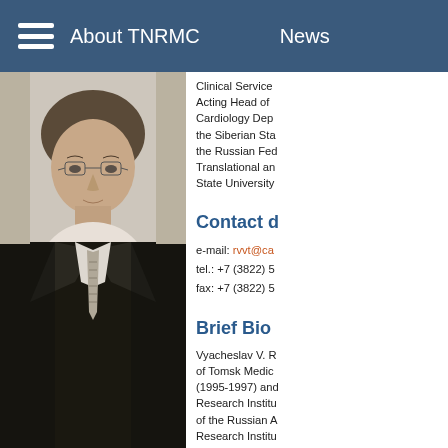About TNRMC   News
[Figure (photo): Portrait photo of a man in a dark suit with a striped tie, wearing glasses, standing in a light-colored room.]
Clinical Service Acting Head of Cardiology Department the Siberian State the Russian Federation Translational and State University
Contact
e-mail: rvvt@ca tel.: +7 (3822) 5 fax: +7 (3822) 5
Brief Bio
Vyacheslav V. R of Tomsk Medical (1995-1997) and Research Institute of the Russian A Research Institu